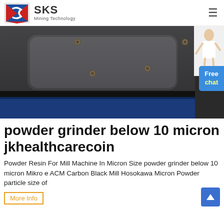SKS Mining Technology
[Figure (photo): Close-up photo of dark industrial grinding machine panel with bolt holes, with a blue machine component visible at bottom. A person (customer service agent) and 'Free chat' button overlay on the right side.]
powder grinder below 10 micron jkhealthcarecoin
Powder Resin For Mill Machine In Micron Size powder grinder below 10 micron Mikro e ACM Carbon Black Mill Hosokawa Micron Powder particle size of
More Info